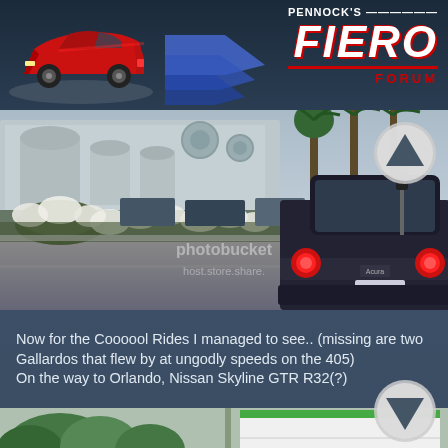[Figure (logo): Pennock's Fiero Forum logo with red Pontiac Fiero car illustration and blue chevron chevrons]
[Figure (photo): Street scene in what appears to be Los Angeles or similar city with palm trees, buildings with arched architecture, white flowering bushes in median, and a dark Acura sedan stopped at a traffic light. Photobucket watermark visible.]
Now for the Coooool Rides I managed to see.. (missing are two Gallardos that flew by at ungodly speeds on the 405)
On the way to Orlando, Nissan Skyline GTR R32(?)
[Figure (photo): Partial view of a road scene showing a large white truck with green stripe and green trees/vegetation visible, taken from a moving vehicle.]